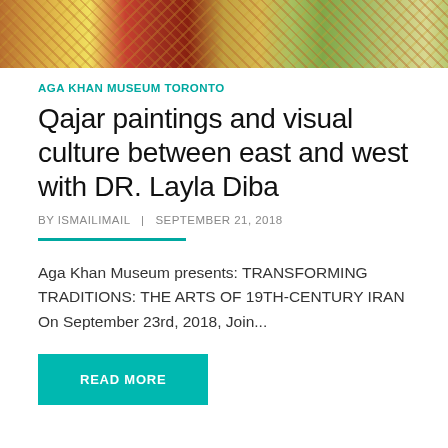[Figure (photo): Colorful decorative mosaic or painting with ornate patterns, reds, golds, greens and blues.]
AGA KHAN MUSEUM TORONTO
Qajar paintings and visual culture between east and west with DR. Layla Diba
BY ISMAILIMAIL  |  SEPTEMBER 21, 2018
Aga Khan Museum presents: TRANSFORMING TRADITIONS: THE ARTS OF 19TH-CENTURY IRAN On September 23rd, 2018, Join...
[Figure (photo): Partial view of a colorful decorative painting or illustration with golden and warm tones at the bottom of the page.]